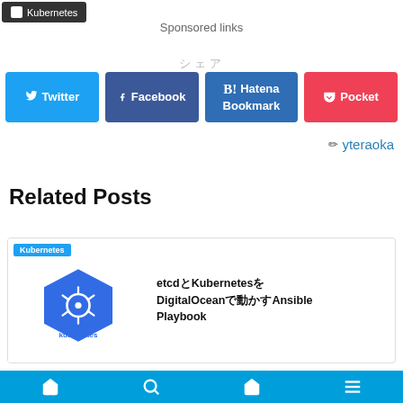Kubernetes
Sponsored links
シェア
Twitter | Facebook | Hatena Bookmark | Pocket
✏ yteraoka
Related Posts
Kubernetes | etcdとKubernetesをDigitalOceanで動かすAnsible Playbook